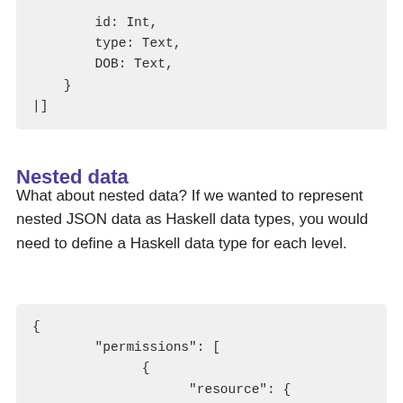id: Int,
    type: Text,
    DOB: Text,
  }
|]
Nested data
What about nested data? If we wanted to represent nested JSON data as Haskell data types, you would need to define a Haskell data type for each level.
{
      "permissions": [
            {
                  "resource": {
                        "name": "secretd
                        "owner": {